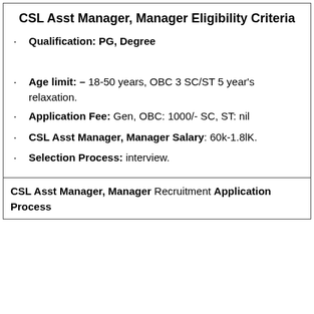CSL Asst Manager, Manager Eligibility Criteria
Qualification: PG, Degree
Age limit: – 18-50 years, OBC 3 SC/ST 5 year's relaxation.
Application Fee: Gen, OBC: 1000/- SC, ST: nil
CSL Asst Manager, Manager Salary: 60k-1.8lK.
Selection Process: interview.
CSL Asst Manager, Manager Recruitment Application Process